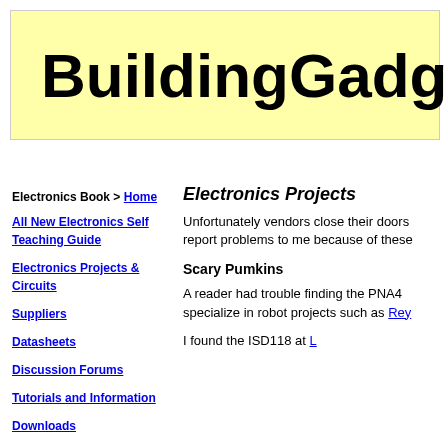BuildingGadgets.
Electronics Book > Home
All New Electronics Self Teaching Guide
Electronics Projects & Circuits
Suppliers
Datasheets
Discussion Forums
Tutorials and Information
Downloads
Electronics Projects
Unfortunately vendors close their doors report problems to me because of these
Scary Pumkins
A reader had trouble finding the PNA4 specialize in robot projects such as Rey
I found the ISD118 at L